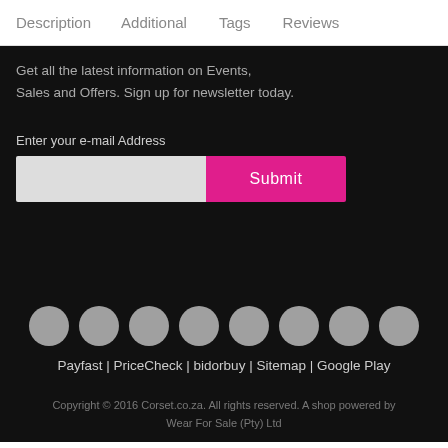Description   Additional   Tags   Reviews
Get all the latest information on Events, Sales and Offers. Sign up for newsletter today.
Enter your e-mail Address
Submit
[Figure (other): Eight gray circles representing payment/partner logos]
Payfast | PriceCheck | bidorbuy | Sitemap | Google Play
Copyright © 2016 Corset.co.za. All rights reserved. A shop powered by Wear For Sale (Pty) Ltd